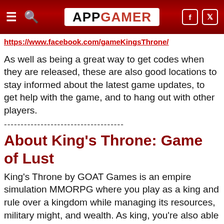APPGAMER
https://www.facebook.com/gameKingsThrone/
As well as being a great way to get codes when they are released, these are also good locations to stay informed about the latest game updates, to get help with the game, and to hang out with other players.
-------------------------------------
About King's Throne: Game of Lust
King's Throne by GOAT Games is an empire simulation MMORPG where you play as a king and rule over a kingdom while managing its resources, military might, and wealth. As king, you're also able to meet a lot of